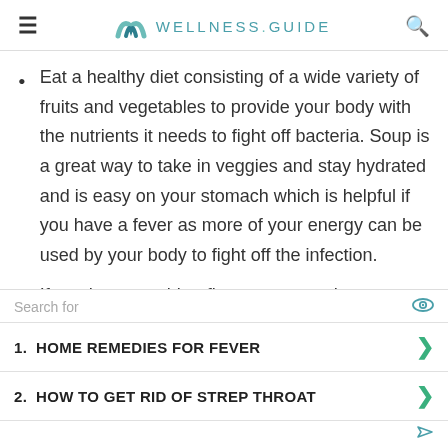WELLNESS.GUIDE
Eat a healthy diet consisting of a wide variety of fruits and vegetables to provide your body with the nutrients it needs to fight off bacteria. Soup is a great way to take in veggies and stay hydrated and is easy on your stomach which is helpful if you have a fever as more of your energy can be used by your body to fight off the infection.
If you have a cold or flu, you can try these
Search for
1.  HOME REMEDIES FOR FEVER
2.  HOW TO GET RID OF STREP THROAT